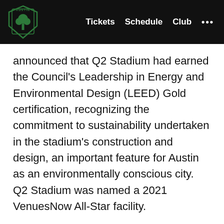Austin FC navigation bar with logo, Tickets, Schedule, Club, and more options
announced that Q2 Stadium had earned the Council's Leadership in Energy and Environmental Design (LEED) Gold certification, recognizing the commitment to sustainability undertaken in the stadium's construction and design, an important feature for Austin as an environmentally conscious city. Q2 Stadium was named a 2021 VenuesNow All-Star facility.
[Figure (other): Two circular social sharing buttons: Twitter bird icon and a chain link icon, both on light grey circular backgrounds]